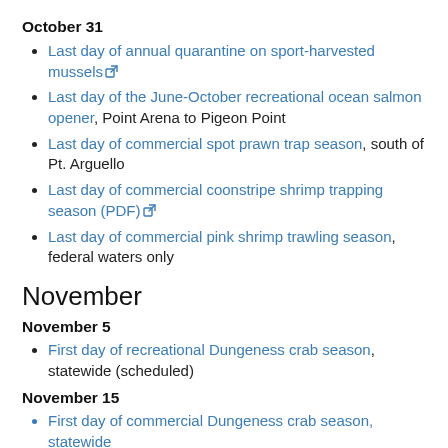October 31
Last day of annual quarantine on sport-harvested mussels [external link]
Last day of the June-October recreational ocean salmon opener, Point Arena to Pigeon Point
Last day of commercial spot prawn trap season, south of Pt. Arguello
Last day of commercial coonstripe shrimp trapping season (PDF) [external link]
Last day of commercial pink shrimp trawling season, federal waters only
November
November 5
First day of recreational Dungeness crab season, statewide (scheduled)
November 15
First day of commercial Dungeness crab season, statewide